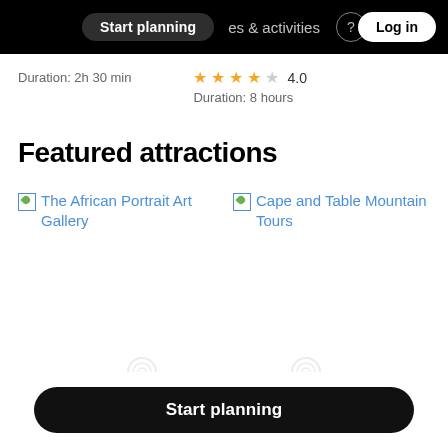Start planning  experiences & activities  Log in
Duration: 2h 30 min
★★★★☆ 4.0
Duration: 8 hours
Featured attractions
The African Portrait Art Gallery
Cape and Table Mountain Tours
Start planning